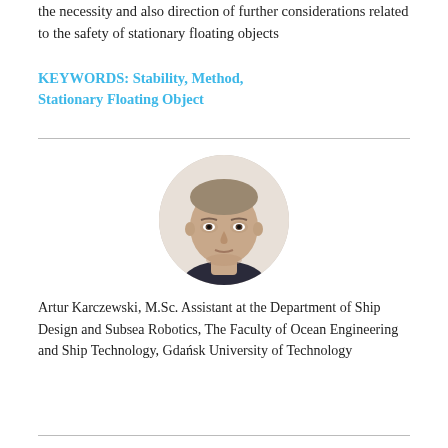the necessity and also direction of further considerations related to the safety of stationary floating objects
KEYWORDS: Stability, Method, Stationary Floating Object
[Figure (photo): Headshot portrait of Artur Karczewski, a middle-aged man with closely cropped hair wearing a dark shirt, shown against a white background in a circular crop.]
Artur Karczewski, M.Sc. Assistant at the Department of Ship Design and Subsea Robotics, The Faculty of Ocean Engineering and Ship Technology, Gdańsk University of Technology